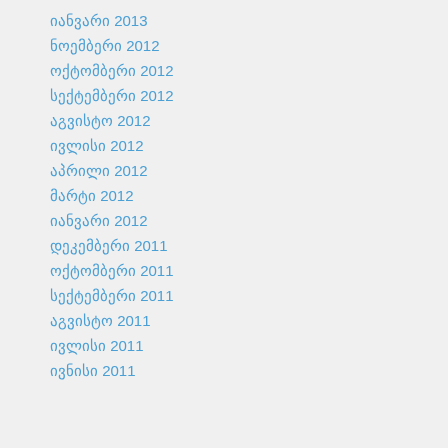იანვარი 2013
ნოემბერი 2012
ოქტომბერი 2012
სექტემბერი 2012
აგვისტო 2012
ივლისი 2012
აპრილი 2012
მარტი 2012
იანვარი 2012
დეკემბერი 2011
ოქტომბერი 2011
სექტემბერი 2011
აგვისტო 2011
ივლისი 2011
ივნისი 2011